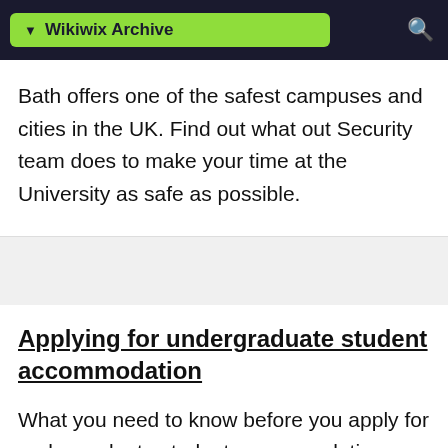Wikiwix Archive
Bath offers one of the safest campuses and cities in the UK. Find out what out Security team does to make your time at the University as safe as possible.
Applying for undergraduate student accommodation
What you need to know before you apply for undergraduate student accommodation.